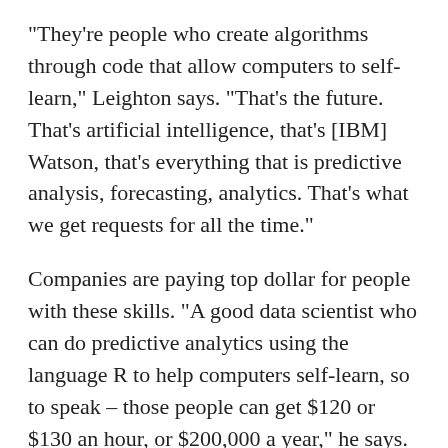"They're people who create algorithms through code that allow computers to self-learn," Leighton says. "That's the future. That's artificial intelligence, that's [IBM] Watson, that's everything that is predictive analysis, forecasting, analytics. That's what we get requests for all the time."
Companies are paying top dollar for people with these skills. "A good data scientist who can do predictive analytics using the language R to help computers self-learn, so to speak – those people can get $120 or $130 an hour, or $200,000 a year," he says. But they're hard to find and typically wind up with multiple suitors. "There's not enough supply out there to meet the demand. Any candidate that has this skill set will be